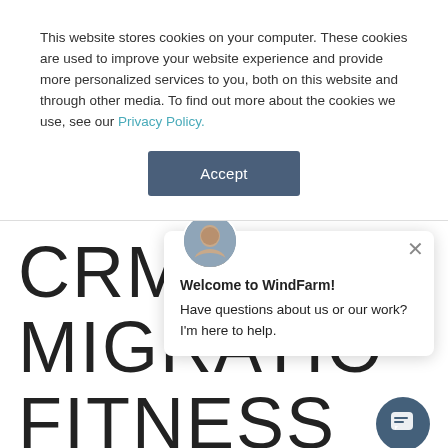This website stores cookies on your computer. These cookies are used to improve your website experience and provide more personalized services to you, both on this website and through other media. To find out more about the cookies we use, see our Privacy Policy.
Accept
CRM SYSTEM MIGRATION FOR FITNESS BRANDS: WHAT TO EXPECT
Welcome to WindFarm! Have questions about us or our work? I'm here to help.